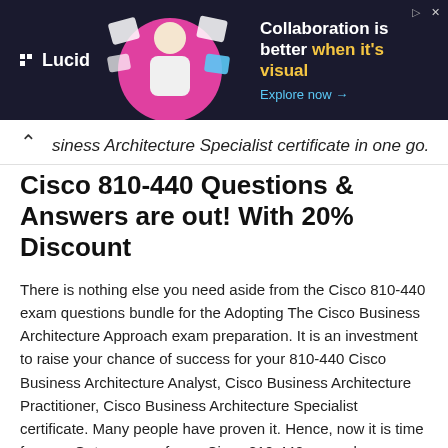[Figure (screenshot): Lucid advertisement banner with dark background. Shows 'Lucid' logo on left, decorative image of person in center, and text 'Collaboration is better when it’s visual' with 'Explore now →' link on right.]
siness Architecture Specialist certificate in one go.
Cisco 810-440 Questions & Answers are out! With 20% Discount
There is nothing else you need aside from the Cisco 810-440 exam questions bundle for the Adopting The Cisco Business Architecture Approach exam preparation. It is an investment to raise your chance of success for your 810-440 Cisco Business Architecture Analyst, Cisco Business Architecture Practitioner, Cisco Business Architecture Specialist certificate. Many people have proven it. Hence, now it is time for you. Get a grasp of your Cisco 810-440 exam dumps bundle now!